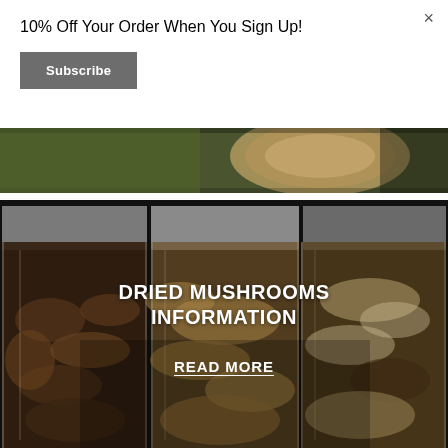10% Off Your Order When You Sign Up!
Subscribe
×
[Figure (photo): Partial view of food/ingredient photo with green herbs and wooden board visible at top]
[Figure (photo): Three glass jars filled with different varieties of dried mushrooms on a dark shelf, with gray jar lids visible at top]
DRIED MUSHROOMS INFORMATION
READ MORE